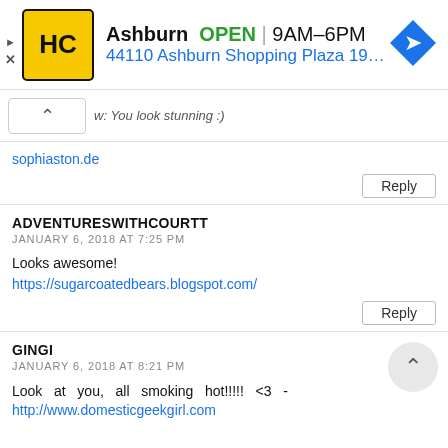[Figure (screenshot): Ad banner for HC Ashburn location showing logo, OPEN status, hours 9AM-6PM, address 44110 Ashburn Shopping Plaza 190, A..., and navigation icon]
w: You look stunning :)
sophiaston.de
Reply
ADVENTURESWITHCOURTT
JANUARY 6, 2018 AT 7:25 PM
Looks awesome!
https://sugarcoatedbears.blogspot.com/
Reply
GINGI
JANUARY 6, 2018 AT 8:21 PM
Look at you, all smoking hot!!!!! <3 - http://www.domesticgeekgirl.com